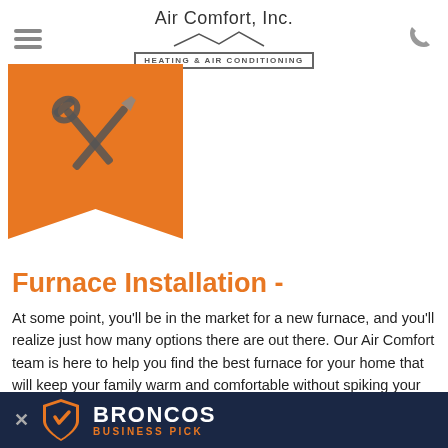Air Comfort, Inc. — HEATING & AIR CONDITIONING
[Figure (illustration): Orange bookmark/ribbon shape with crossed wrench and screwdriver tools icon in white]
Furnace Installation -
At some point, you'll be in the market for a new furnace, and you'll realize just how many options there are out there. Our Air Comfort team is here to help you find the best furnace for your home that will keep your family warm and comfortable without spiking your utility bill. Once you find the furnace that's right for your home, our team is here to provide you with furnace installation services to make sure it's installed correctly and working as it s... types of furnaces a...
[Figure (logo): Broncos Business Pick advertisement banner with dark navy background, Broncos shield logo, and orange/white text reading BRONCOS BUSINESS PICK]